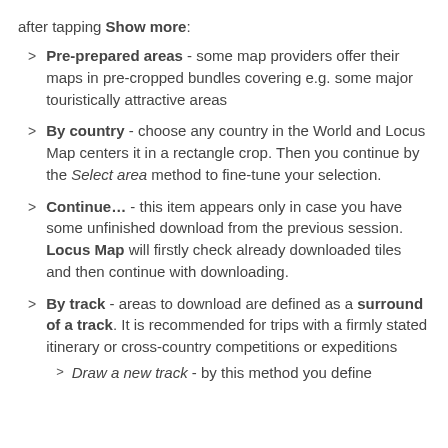after tapping Show more:
Pre-prepared areas - some map providers offer their maps in pre-cropped bundles covering e.g. some major touristically attractive areas
By country - choose any country in the World and Locus Map centers it in a rectangle crop. Then you continue by the Select area method to fine-tune your selection.
Continue… - this item appears only in case you have some unfinished download from the previous session. Locus Map will firstly check already downloaded tiles and then continue with downloading.
By track - areas to download are defined as a surround of a track. It is recommended for trips with a firmly stated itinerary or cross-country competitions or expeditions
Draw a new track - by this method you define